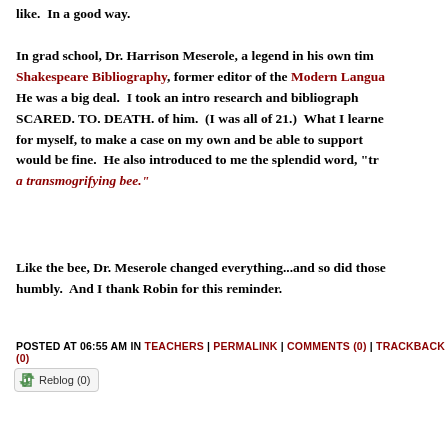like.  In a good way.

In grad school, Dr. Harrison Meserole, a legend in his own time. Shakespeare Bibliography, former editor of the Modern Language. He was a big deal.  I took an intro research and bibliography class. SCARED. TO. DEATH. of him.  (I was all of 21.)  What I learned for myself, to make a case on my own and be able to support would be fine.  He also introduced to me the splendid word, "tra a transmogrifying bee."
Like the bee, Dr. Meserole changed everything...and so did those humbly.  And I thank Robin for this reminder.
POSTED AT 06:55 AM IN TEACHERS | PERMALINK | COMMENTS (0) | TRACKBACK (0)
[Figure (other): Reblog (0) button with recycling arrow icon]